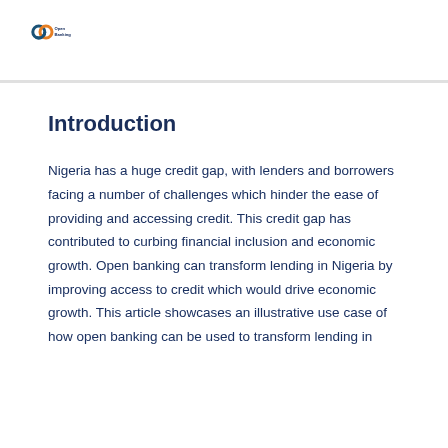Open Banking
Introduction
Nigeria has a huge credit gap, with lenders and borrowers facing a number of challenges which hinder the ease of providing and accessing credit. This credit gap has contributed to curbing financial inclusion and economic growth. Open banking can transform lending in Nigeria by improving access to credit which would drive economic growth. This article showcases an illustrative use case of how open banking can be used to transform lending in